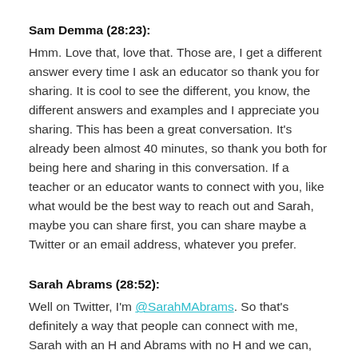Sam Demma (28:23):
Hmm. Love that, love that. Those are, I get a different answer every time I ask an educator so thank you for sharing. It is cool to see the different, you know, the different answers and examples and I appreciate you sharing. This has been a great conversation. It's already been almost 40 minutes, so thank you both for being here and sharing in this conversation. If a teacher or an educator wants to connect with you, like what would be the best way to reach out and Sarah, maybe you can share first, you can share maybe a Twitter or an email address, whatever you prefer.
Sarah Abrams (28:52):
Well on Twitter, I'm @SarahMAbrams. So that's definitely a way that people can connect with me, Sarah with an H and Abrams with no H and we can, we can